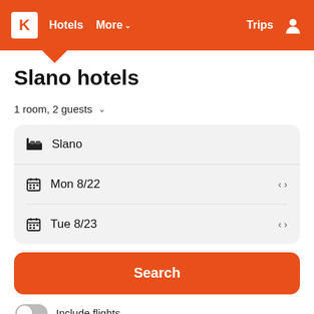K  Hotels  More  Trips
Slano hotels
1 room, 2 guests
Slano
Mon 8/22
Tue 8/23
Search
Include flights